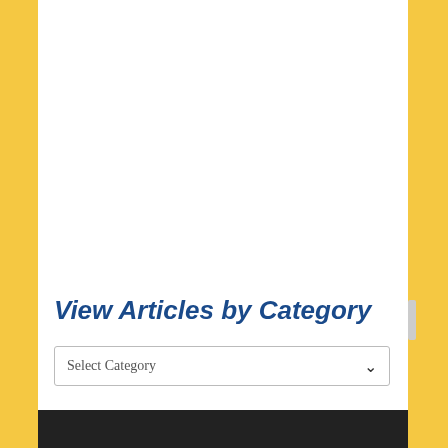View Articles by Category
Select Category